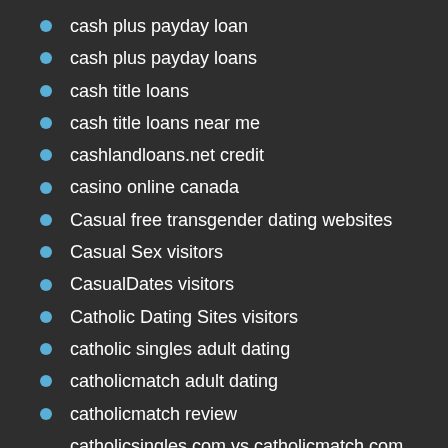cash plus payday loan
cash plus payday loans
cash title loans
cash title loans near me
cashlandloans.net credit
casino online canada
Casual free transgender dating websites
Casual Sex visitors
CasualDates visitors
Catholic Dating Sites visitors
catholic singles adult dating
catholicmatch adult dating
catholicmatch review
catholicsingles com vs catholicmatch com reviews